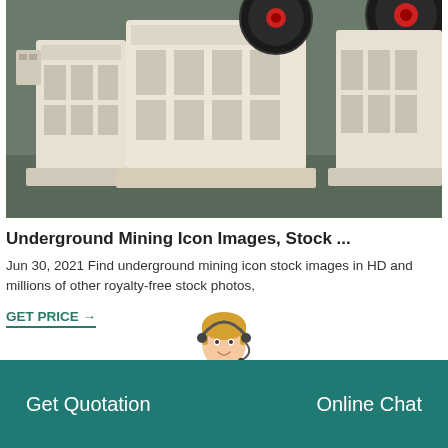[Figure (photo): Industrial jaw crusher machines in white/cream color displayed on a factory floor, with large flywheels visible at the top.]
Underground Mining Icon Images, Stock ...
Jun 30, 2021 Find underground mining icon stock images in HD and millions of other royalty-free stock photos,
GET PRICE →
[Figure (illustration): Customer service agent illustration — woman with blonde hair wearing a headset, dressed in white, partially visible above the footer bar.]
Get Quotation
Online Chat